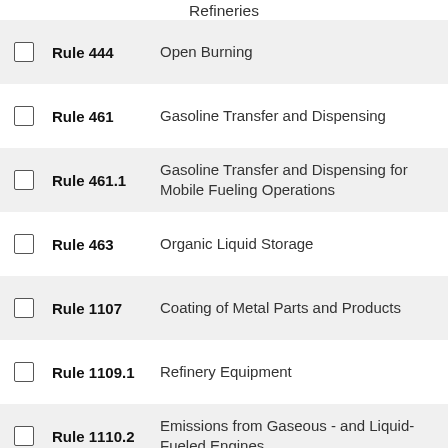Refineries
Rule 444 — Open Burning
Rule 461 — Gasoline Transfer and Dispensing
Rule 461.1 — Gasoline Transfer and Dispensing for Mobile Fueling Operations
Rule 463 — Organic Liquid Storage
Rule 1107 — Coating of Metal Parts and Products
Rule 1109.1 — Refinery Equipment
Rule 1110.2 — Emissions from Gaseous - and Liquid-Fueled Engines
Reduction of NOx Emissions...